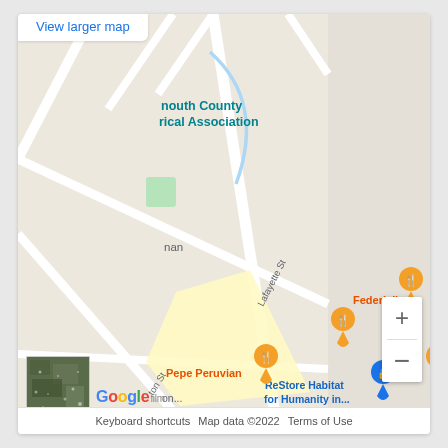[Figure (map): Google Maps screenshot showing a street map centered near Lafayette St. Visible labels include: 'nouth County rical Association', 'nan', 'Lafayette St', 'ton St', 'Pepe Peruvian', 'Federici's', 'ReStore Habitat for Humanity in...', 'on...', 'Fus'. A red location pin is shown near the center. Multiple orange restaurant pins (Federici's, Pepe Peruvian, Fus) and a blue pin (ReStore Habitat for Humanity) are visible. Zoom controls (+/-) appear on the right. Google logo and map footer text at bottom.]
View larger map
Keyboard shortcuts   Map data ©2022   Terms of Use